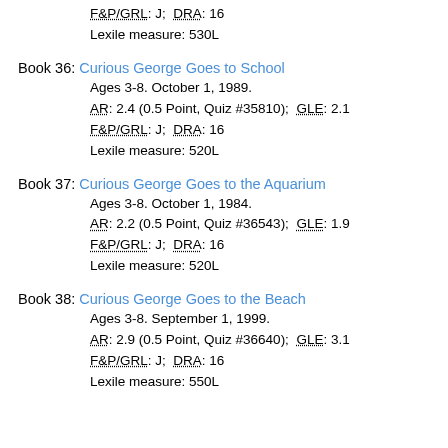F&P/GRL: J;  DRA: 16
Lexile measure: 530L
Book 36: Curious George Goes to School
Ages 3-8. October 1, 1989.
AR: 2.4 (0.5 Point, Quiz #35810);  GLE: 2.1
F&P/GRL: J;  DRA: 16
Lexile measure: 520L
Book 37: Curious George Goes to the Aquarium
Ages 3-8. October 1, 1984.
AR: 2.2 (0.5 Point, Quiz #36543);  GLE: 1.9
F&P/GRL: J;  DRA: 16
Lexile measure: 520L
Book 38: Curious George Goes to the Beach
Ages 3-8. September 1, 1999.
AR: 2.9 (0.5 Point, Quiz #36640);  GLE: 3.1
F&P/GRL: J;  DRA: 16
Lexile measure: 550L